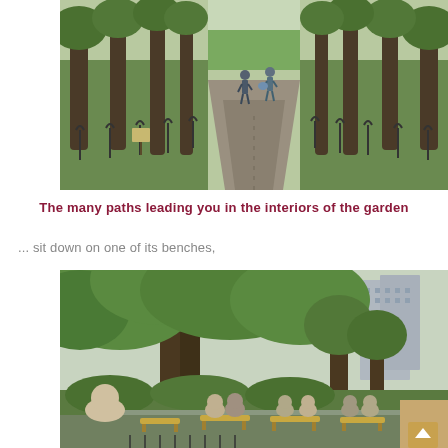[Figure (photo): A paved garden path flanked by trees and small metal fence stakes, with two people walking away in the distance, lush green grass on either side.]
The many paths leading you in the interiors of the garden
... sit down on one of its benches,
[Figure (photo): Large old trees with broad canopies in a park garden, people sitting on benches beneath the trees, modern city buildings visible in the background on the right.]